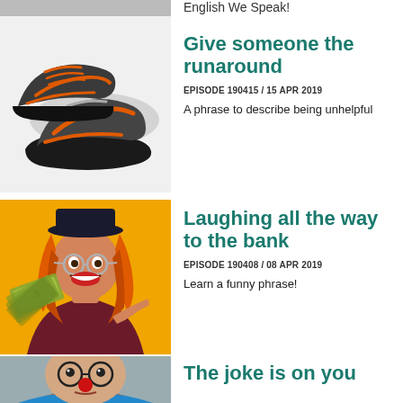English We Speak!
[Figure (photo): A pair of grey and orange running/athletic shoes on a white background]
Give someone the runaround
EPISODE 190415 / 15 APR 2019
A phrase to describe being unhelpful
[Figure (photo): A woman with orange hair wearing a black hat and glasses, holding a fan of dollar bills and pointing at them, against a yellow/orange background]
Laughing all the way to the bank
EPISODE 190408 / 08 APR 2019
Learn a funny phrase!
[Figure (photo): An elderly man dressed as a clown with a red nose, round glasses, and colorful costume]
The joke is on you